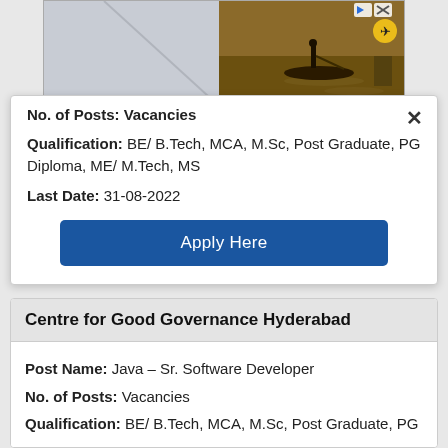[Figure (photo): Advertisement banner showing a gondola on water with a person rowing, partial view cropped at top. Small play/close icons visible at top right.]
No. of Posts: Vacancies
Qualification: BE/ B.Tech, MCA, M.Sc, Post Graduate, PG Diploma, ME/ M.Tech, MS
Last Date: 31-08-2022
Apply Here
Centre for Good Governance Hyderabad
Post Name: Java – Sr. Software Developer
No. of Posts: Vacancies
Qualification: BE/ B.Tech, MCA, M.Sc, Post Graduate, PG